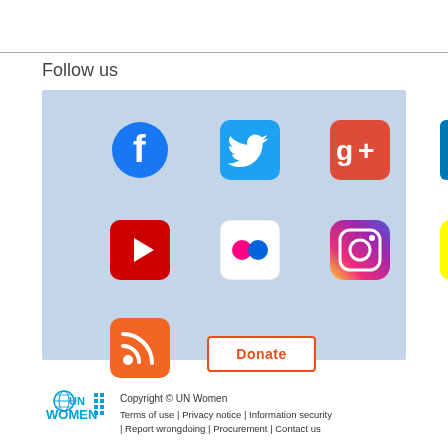Follow us
[Figure (infographic): Social media icons grid on light blue background: Facebook, Twitter, Google+, LinkedIn, YouTube, Flickr, Instagram, Snapchat, RSS, and a Donate button]
Copyright © UN Women | Terms of use | Privacy notice | Information security | Report wrongdoing | Procurement | Contact us